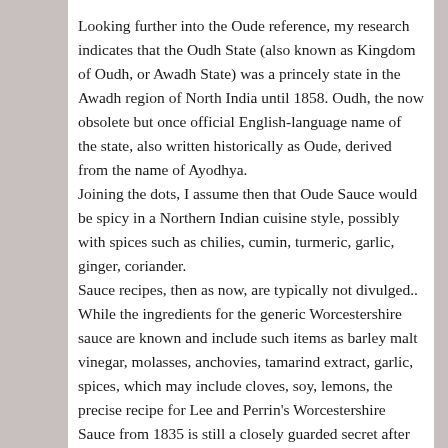Looking further into the Oude reference, my research indicates that the Oudh State (also known as Kingdom of Oudh, or Awadh State) was a princely state in the Awadh region of North India until 1858. Oudh, the now obsolete but once official English-language name of the state, also written historically as Oude, derived from the name of Ayodhya.
Joining the dots, I assume then that Oude Sauce would be spicy in a Northern Indian cuisine style, possibly with spices such as chilies, cumin, turmeric, garlic, ginger, coriander.
Sauce recipes, then as now, are typically not divulged.. While the ingredients for the generic Worcestershire sauce are known and include such items as barley malt vinegar, molasses, anchovies, tamarind extract, garlic, spices, which may include cloves, soy, lemons, the precise recipe for Lee and Perrin's Worcestershire Sauce from 1835 is still a closely guarded secret after more than 200 years.  Tabasco Sauce, another well-loved spicy